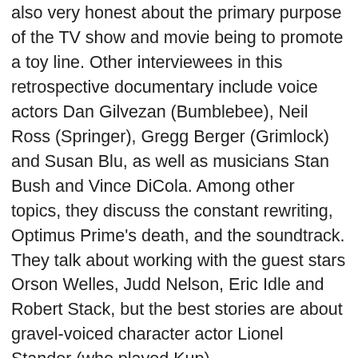also very honest about the primary purpose of the TV show and movie being to promote a toy line. Other interviewees in this retrospective documentary include voice actors Dan Gilvezan (Bumblebee), Neil Ross (Springer), Gregg Berger (Grimlock) and Susan Blu, as well as musicians Stan Bush and Vince DiCola. Among other topics, they discuss the constant rewriting, Optimus Prime's death, and the soundtrack. They talk about working with the guest stars Orson Welles, Judd Nelson, Eric Idle and Robert Stack, but the best stories are about gravel-voiced character actor Lionel Stander (who played Kup).
Transformers: The Restoration (HD, 7 min.) – Technicians from motion picture film lab Fotokam…